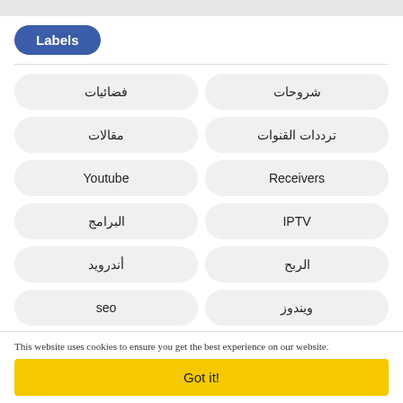Labels
فضائيات
شروحات
مقالات
ترددات القنوات
Youtube
Receivers
البرامج
IPTV
أندرويد
الربح
seo
ويندوز
This website uses cookies to ensure you get the best experience on our website.
Got it!